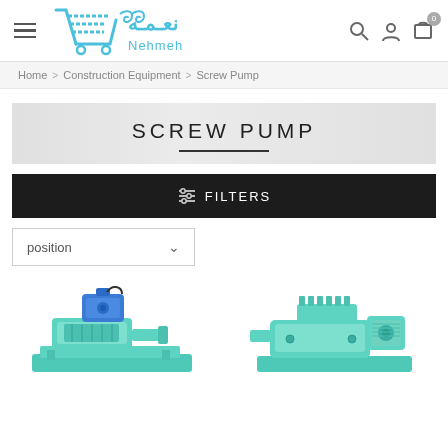Nehmeh - Navigation header with logo, hamburger menu, search, account, and cart icons
Home > Construction Equipment > Screw Pump
SCREW PUMP
FILTERS
position
[Figure (photo): Two screw pump product images shown partially at the bottom of the page - a teal/green colored screw pump with blue motor on left, and another teal/green screw pump unit on right]